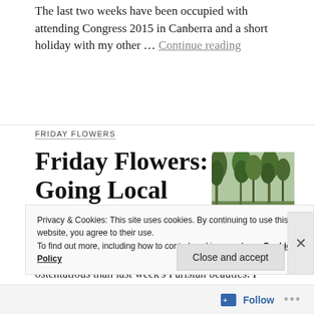The last two weeks have been occupied with attending Congress 2015 in Canberra and a short holiday with my other … Continue reading
FRIDAY FLOWERS
Friday Flowers: Going Local
[Figure (photo): Thumbnail photo of trees/vegetation near water in Australian bush setting]
This week the flowers are less glamorous and ostentatious than last week's Parisian beauties. I thought I'd share the flowers … Continue reading
Privacy & Cookies: This site uses cookies. By continuing to use this website, you agree to their use. To find out more, including how to control cookies, see here: Cookie Policy
Close and accept
Follow